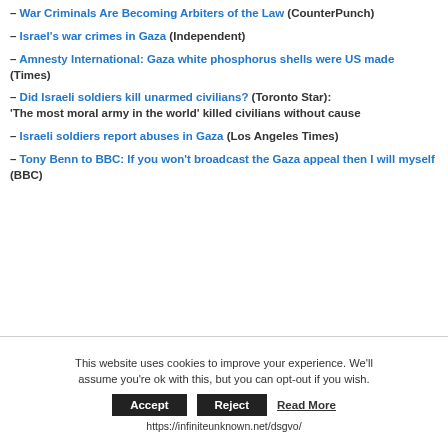– War Criminals Are Becoming Arbiters of the Law (CounterPunch)
– Israel's war crimes in Gaza (Independent)
– Amnesty International: Gaza white phosphorus shells were US made (Times)
– Did Israeli soldiers kill unarmed civilians? (Toronto Star): 'The most moral army in the world' killed civilians without cause
– Israeli soldiers report abuses in Gaza (Los Angeles Times)
– Tony Benn to BBC: If you won't broadcast the Gaza appeal then I will myself (BBC)
This website uses cookies to improve your experience. We'll assume you're ok with this, but you can opt-out if you wish.
Accept  Reject  Read More
https://infiniteunknown.net/dsgvo/